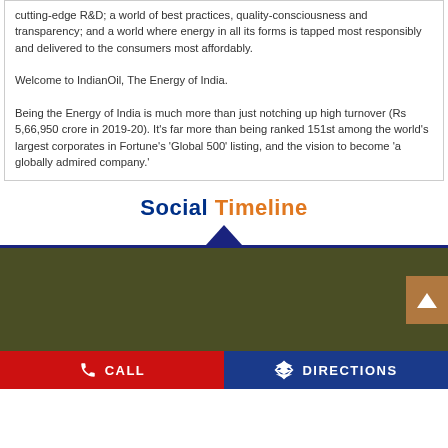cutting-edge R&D; a world of best practices, quality-consciousness and transparency; and a world where energy in all its forms is tapped most responsibly and delivered to the consumers most affordably.

Welcome to IndianOil, The Energy of India.

Being the Energy of India is much more than just notching up high turnover (Rs 5,66,950 crore in 2019-20). It's far more than being ranked 151st among the world's largest corporates in Fortune's 'Global 500' listing, and the vision to become 'a globally admired company.'
Social Timeline
[Figure (infographic): Dark olive green banner area representing the Social Timeline section with a back-to-top button on the right]
[Figure (infographic): Bottom navigation bar with red CALL button and blue DIRECTIONS button]